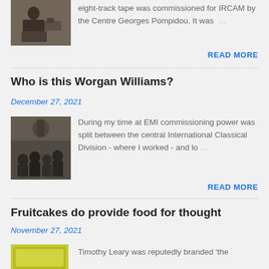eight-track tape was commissioned for IRCAM by the Centre Georges Pompidou. It was …
READ MORE
Who is this Worgan Williams?
December 27, 2021
[Figure (photo): Black and white photo of an orchestra or music performance audience]
During my time at EMI commissioning power was split between the central International Classical Division - where I worked - and lo…
READ MORE
Fruitcakes do provide food for thought
November 27, 2021
[Figure (photo): Album cover with yellow/green background]
Timothy Leary was reputedly branded 'the